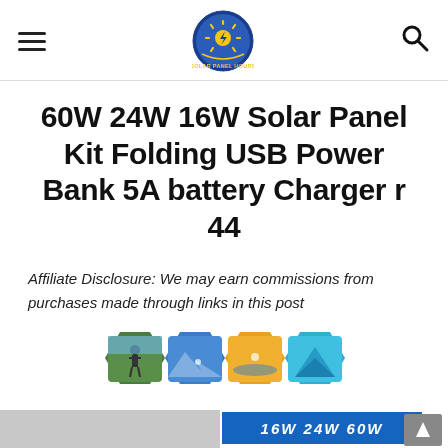[hamburger menu] [Solar Panel Hours logo] [search icon]
60W 24W 16W Solar Panel Kit Folding USB Power Bank 5A battery Charger r 44
Affiliate Disclosure: We may earn commissions from purchases made through links in this post
[Figure (photo): Four hexagonal thumbnail images showing outdoor/camping scenes including a person outdoors, mountain biking, water sports, and a blue tent. A partial product banner showing '16W 24W 60W' text in blue is visible at the bottom.]